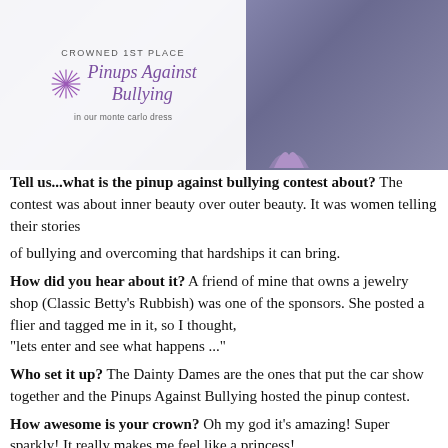[Figure (photo): Photo of a woman in a purple floral dress seated outdoors on grass, with text overlay on the left side reading 'Crowned 1st Place / Pinups Against Bullying / in our monte carlo dress' with a decorative star/snowflake logo]
Tell us...what is the pinup against bullying contest about? The contest was about inner beauty over outer beauty. It was women telling their stories of bullying and overcoming that hardships it can bring. How did you hear about it? A friend of mine that owns a jewelry shop (Classic Betty's Rubbish) was one of the sponsors. She posted a flier and tagged me in it, so I thought, "lets enter and see what happens ..." Who set it up? The Dainty Dames are the ones that put the car show together and the Pinups Against Bullying hosted the pinup contest. How awesome is your crown? Oh my god it's amazing! Super sparkly! It really makes me feel like a princess! How long have you been a pinup model? I have been modeling for over 10 years and competing in pinup contests for about 5